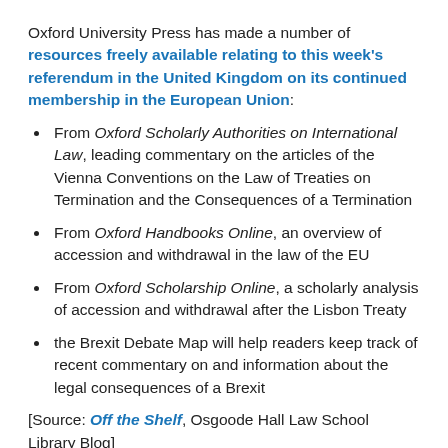Oxford University Press has made a number of resources freely available relating to this week's referendum in the United Kingdom on its continued membership in the European Union:
From Oxford Scholarly Authorities on International Law, leading commentary on the articles of the Vienna Conventions on the Law of Treaties on Termination and the Consequences of a Termination
From Oxford Handbooks Online, an overview of accession and withdrawal in the law of the EU
From Oxford Scholarship Online, a scholarly analysis of accession and withdrawal after the Lisbon Treaty
the Brexit Debate Map will help readers keep track of recent commentary on and information about the legal consequences of a Brexit
[Source: Off the Shelf, Osgoode Hall Law School Library Blog]